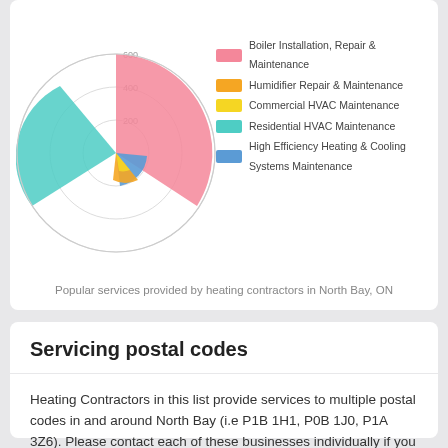[Figure (radar-chart): Radar/polar area chart showing frequency of 5 heating contractor services in North Bay, ON. Categories: Boiler Installation Repair & Maintenance (largest, pink), Residential HVAC Maintenance (teal), High Efficiency Heating & Cooling Systems Maintenance (blue, small), Humidifier Repair & Maintenance (orange, small), Commercial HVAC Maintenance (yellow, small). Scale rings at 200, 400, 600.]
Popular services provided by heating contractors in North Bay, ON
Servicing postal codes
Heating Contractors in this list provide services to multiple postal codes in and around North Bay (i.e P1B 1H1, P0B 1J0, P1A 3Z6). Please contact each of these businesses individually if you need to verify their service area.